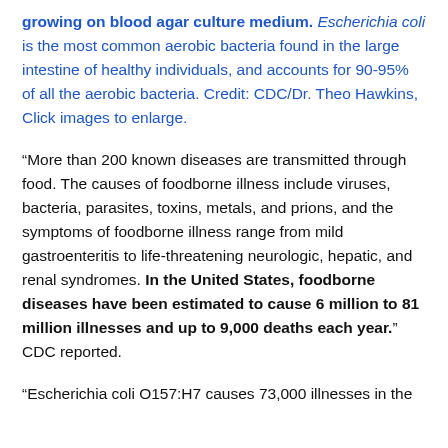growing on blood agar culture medium. Escherichia coli is the most common aerobic bacteria found in the large intestine of healthy individuals, and accounts for 90-95% of all the aerobic bacteria. Credit: CDC/Dr. Theo Hawkins, Click images to enlarge.
“More than 200 known diseases are transmitted through food. The causes of foodborne illness include viruses, bacteria, parasites, toxins, metals, and prions, and the symptoms of foodborne illness range from mild gastroenteritis to life-threatening neurologic, hepatic, and renal syndromes. In the United States, foodborne diseases have been estimated to cause 6 million to 81 million illnesses and up to 9,000 deaths each year.” CDC reported.
“Escherichia coli O157:H7 causes 73,000 illnesses in the